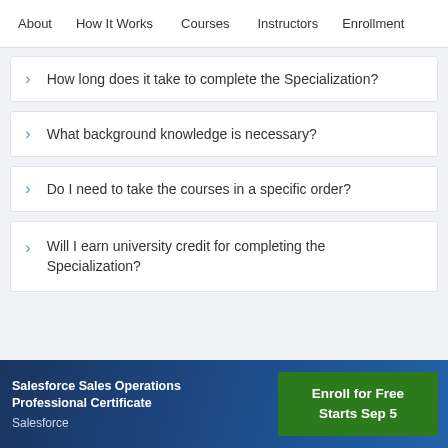About   How It Works   Courses   Instructors   Enrollment
> How long does it take to complete the Specialization?
> What background knowledge is necessary?
> Do I need to take the courses in a specific order?
> Will I earn university credit for completing the Specialization?
Salesforce Sales Operations Professional Certificate
Salesforce
Enroll for Free
Starts Sep 5